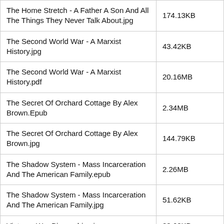| Filename | Size |
| --- | --- |
| The Home Stretch - A Father A Son And All The Things They Never Talk About.jpg | 174.13KB |
| The Second World War - A Marxist History.jpg | 43.42KB |
| The Second World War - A Marxist History.pdf | 20.16MB |
| The Secret Of Orchard Cottage By Alex Brown.Epub | 2.34MB |
| The Secret Of Orchard Cottage By Alex Brown.jpg | 144.79KB |
| The Shadow System - Mass Incarceration And The American Family.epub | 2.26MB |
| The Shadow System - Mass Incarceration And The American Family.jpg | 51.62KB |
| Vietnam War Biographies.jpg | 83.68KB |
| Vietnam War Biographies.pdf | 2.89MB |
| Visible Fictions - Cinema Television Video.jpg | 53.68KB |
| Visible Fictions - Cinema Television Video.pdf | 2.15MB |